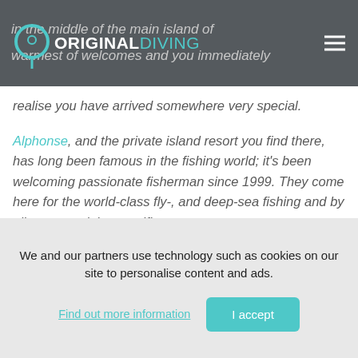in the middle of the main island of Alphonse plane to the warmest of welcomes and you immediately
realise you have arrived somewhere very special.
Alphonse, and the private island resort you find there, has long been famous in the fishing world; it's been welcoming passionate fisherman since 1999. They come here for the world-class fly-, and deep-sea fishing and by all accounts it is magnificent.
We and our partners use technology such as cookies on our site to personalise content and ads.
Find out more information
I accept